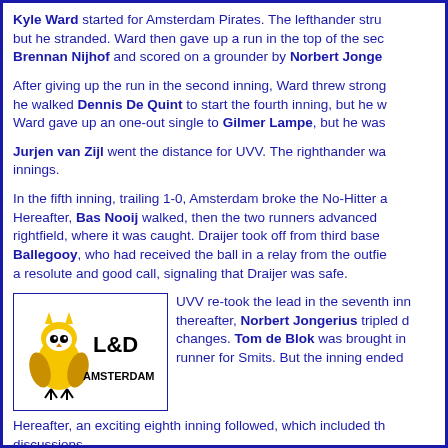Kyle Ward started for Amsterdam Pirates. The lefthander stru but he stranded. Ward then gave up a run in the top of the sec Brennan Nijhof and scored on a grounder by Norbert Jonge
After giving up the run in the second inning, Ward threw strong he walked Dennis De Quint to start the fourth inning, but he w Ward gave up an one-out single to Gilmer Lampe, but he was
Jurjen van Zijl went the distance for UVV. The righthander wa innings.
In the fifth inning, trailing 1-0, Amsterdam broke the No-Hitter a Hereafter, Bas Nooij walked, then the two runners advanced rightfield, where it was caught. Draijer took off from third base Ballegooy, who had received the ball in a relay from the outfie a resolute and good call, signaling that Draijer was safe.
[Figure (logo): L&D Amsterdam Pirates logo with owl]
UVV re-took the lead in the seventh inn thereafter, Norbert Jongerius tripled changes. Tom de Blok was brought in runner for Smits. But the inning ended
Hereafter, an exciting eighth inning followed, which included th discussions.